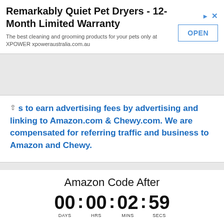[Figure (screenshot): Advertisement banner for XPOWER pet dryers with OPEN button]
s to earn advertising fees by advertising and linking to Amazon.com & Chewy.com. We are compensated for referring traffic and business to Amazon and Chewy.
Amazon Code After 00 : 00 : 02 : 59 DAYS HRS MINS SECS